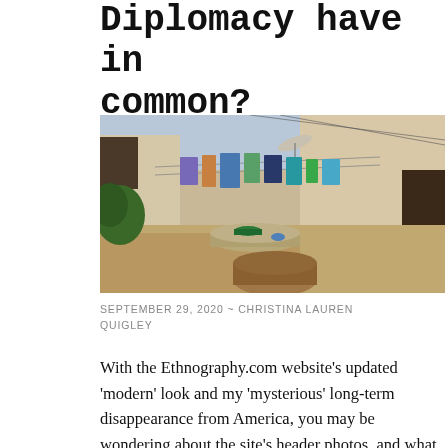Diplomacy have in common?
[Figure (photo): Outdoor courtyard scene with clothes hanging on a line between white-walled buildings, green basin, tree stump in foreground, warm sunlight]
SEPTEMBER 29, 2020  ~  CHRISTINA LAUREN QUIGLEY
With the Ethnography.com website's updated 'modern' look and my 'mysterious' long-term disappearance from America, you may be wondering about the site's header photos, and what the heck is going on over here? Maybe call